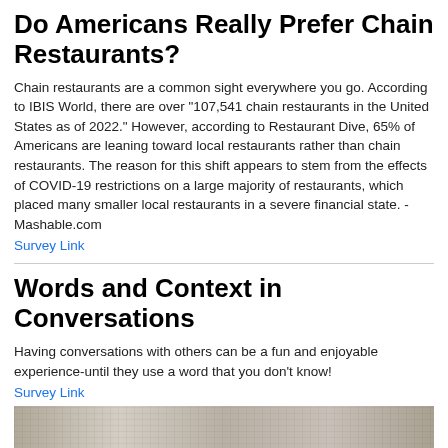Do Americans Really Prefer Chain Restaurants?
Chain restaurants are a common sight everywhere you go. According to IBIS World, there are over "107,541 chain restaurants in the United States as of 2022." However, according to Restaurant Dive, 65% of Americans are leaning toward local restaurants rather than chain restaurants. The reason for this shift appears to stem from the effects of COVID-19 restrictions on a large majority of restaurants, which placed many smaller local restaurants in a severe financial state. -Mashable.com
Survey Link
Words and Context in Conversations
Having conversations with others can be a fun and enjoyable experience-until they use a word that you don't know!
Survey Link
[Figure (photo): Close-up photograph of open book pages showing dense text, partially visible at bottom of page]